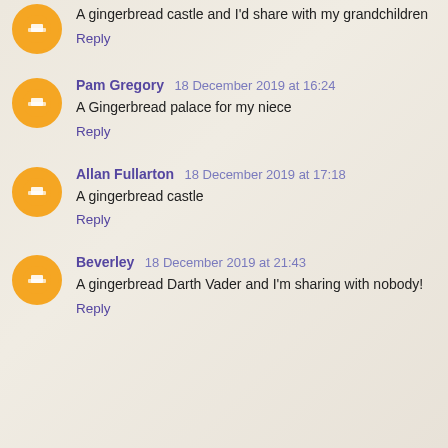A gingerbread castle and I'd share with my grandchildren
Reply
Pam Gregory  18 December 2019 at 16:24
A Gingerbread palace for my niece
Reply
Allan Fullarton  18 December 2019 at 17:18
A gingerbread castle
Reply
Beverley  18 December 2019 at 21:43
A gingerbread Darth Vader and I'm sharing with nobody!
Reply